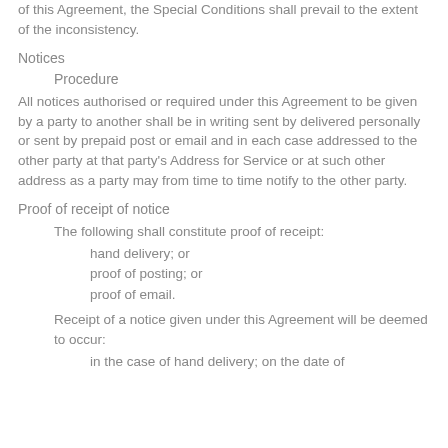of this Agreement, the Special Conditions shall prevail to the extent of the inconsistency.
Notices
Procedure
All notices authorised or required under this Agreement to be given by a party to another shall be in writing sent by delivered personally or sent by prepaid post or email and in each case addressed to the other party at that party's Address for Service or at such other address as a party may from time to time notify to the other party.
Proof of receipt of notice
The following shall constitute proof of receipt:
hand delivery; or
proof of posting; or
proof of email.
Receipt of a notice given under this Agreement will be deemed to occur:
in the case of hand delivery; on the date of